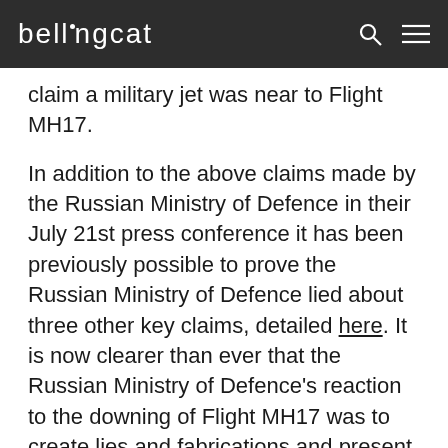bellingcat
claim a military jet was near to Flight MH17.
In addition to the above claims made by the Russian Ministry of Defence in their July 21st press conference it has been previously possible to prove the Russian Ministry of Defence lied about three other key claims, detailed here. It is now clearer than ever that the Russian Ministry of Defence's reaction to the downing of Flight MH17 was to create lies and fabrications and present them to the world, only days after Flight MH17 was shot down, killing 298 people.